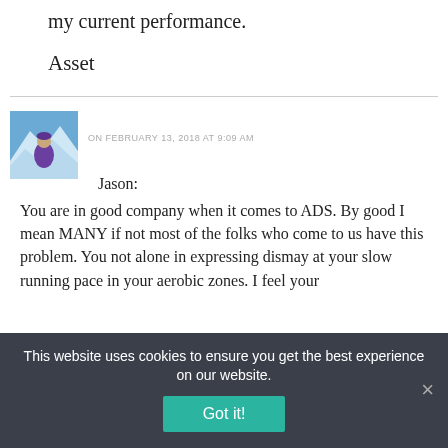my current performance.
Asset
[Figure (photo): Avatar photo of a person in a purple jacket on a snowy mountain]
ON FEBRUARY 13, 2018 AT 9:09 AM
Jason:
You are in good company when it comes to ADS. By good I mean MANY if not most of the folks who come to us have this problem. You not alone in expressing dismay at your slow running pace in your aerobic zones. I feel your
This website uses cookies to ensure you get the best experience on our website.